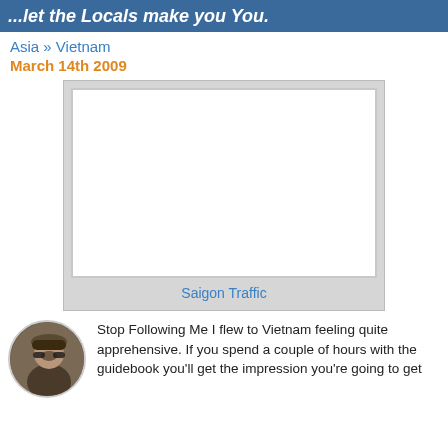...let the Locals make you You.
Asia » Vietnam
March 14th 2009
[Figure (photo): Empty white photo frame placeholder for Saigon Traffic image]
Saigon Traffic
[Figure (photo): Circular avatar photo of a man wearing a hat and sunglasses outdoors on a bridge]
Stop Following Me I flew to Vietnam feeling quite apprehensive. If you spend a couple of hours with the guidebook you'll get the impression you're going to get...